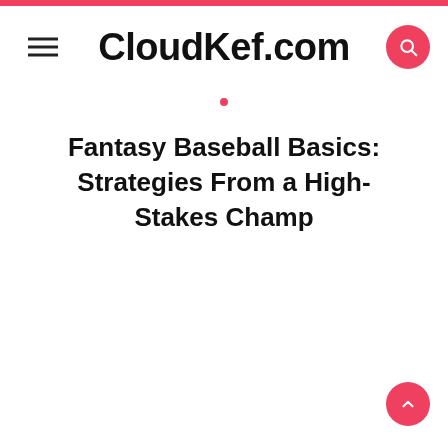CloudKef.com
Fantasy Baseball Basics: Strategies From a High-Stakes Champ